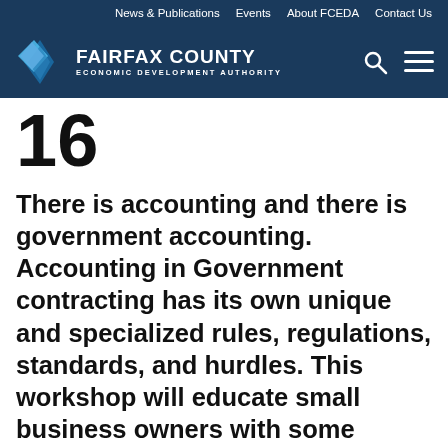News & Publications  Events  About FCEDA  Contact Us
[Figure (logo): Fairfax County Economic Development Authority logo with diamond/chevron icon and text]
16
There is accounting and there is government accounting. Accounting in Government contracting has its own unique and specialized rules, regulations, standards, and hurdles. This workshop will educate small business owners with some accounting